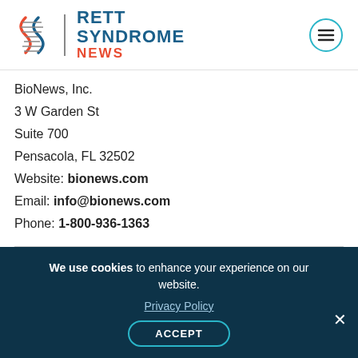[Figure (logo): Rett Syndrome News logo with DNA helix graphic, site name in blue and red, and hamburger menu icon]
BioNews, Inc.
3 W Garden St
Suite 700
Pensacola, FL 32502
Website: bionews.com
Email: info@bionews.com
Phone: 1-800-936-1363
About Us
Privacy Policy
Leadership
Careers
We use cookies to enhance your experience on our website. Privacy Policy ACCEPT